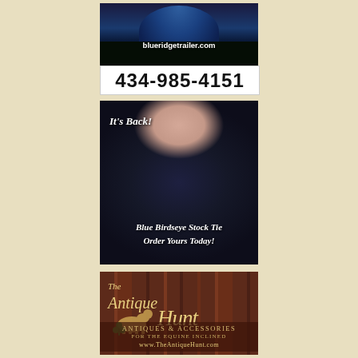[Figure (illustration): Blue Ridge Trailer advertisement with dark night sky background showing moon and tree silhouettes, URL blueridgetrailer.com, and phone number 434-985-4151]
[Figure (photo): Stock tie advertisement showing person wearing blue birdseye stock tie with text 'It's Back!' at top and 'Blue Birdseye Stock Tie Order Yours Today!' at bottom]
[Figure (illustration): The Antique Hunt advertisement with dark brown wood background showing horse logo, text 'The Antique Hunt', 'ANTIQUES & ACCESSORIES FOR THE EQUINE INCLINED', 'www.TheAntiqueHunt.com']